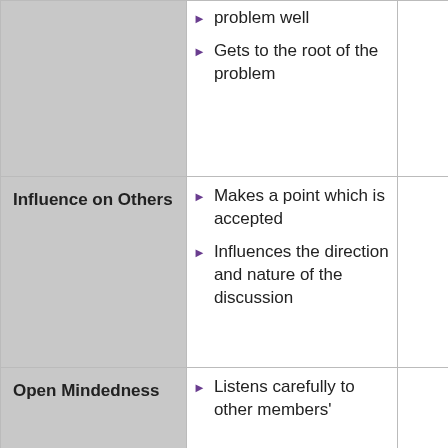| Competency | Indicators |  |
| --- | --- | --- |
| (continued) | problem well
Gets to the root of the problem |  |
| Influence on Others | Makes a point which is accepted
Influences the direction and nature of the discussion |  |
| Open Mindedness | Listens carefully to other members' |  |